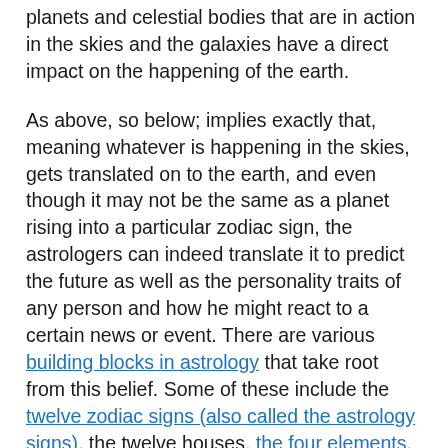planets and celestial bodies that are in action in the skies and the galaxies have a direct impact on the happening of the earth.
As above, so below; implies exactly that, meaning whatever is happening in the skies, gets translated on to the earth, and even though it may not be the same as a planet rising into a particular zodiac sign, the astrologers can indeed translate it to predict the future as well as the personality traits of any person and how he might react to a certain news or event. There are various building blocks in astrology that take root from this belief. Some of these include the twelve zodiac signs (also called the astrology signs), the twelve houses, the four elements, the concept of being born on the cusp, and also, the natal chart.